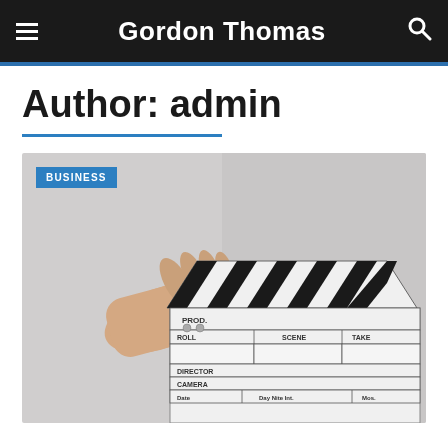Gordon Thomas
Author: admin
[Figure (photo): A hand holding a film/movie clapperboard (slate) against a light gray background. The clapperboard is white with black stripes on the top clapper bar. The board shows fields: PROD., ROLL, SCENE, TAKE, DIRECTOR, CAMERA, Date, Day/Nite/Int., Mos. The clapper is open at an angle. A BUSINESS category badge is overlaid in the top-left corner.]